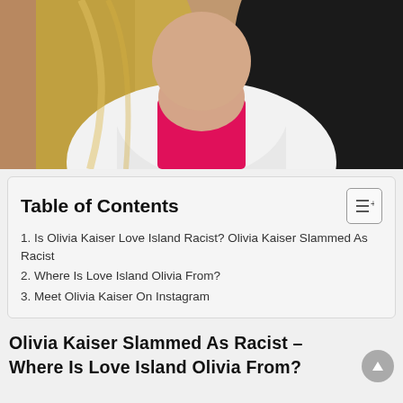[Figure (photo): Photo of a woman with long blonde/dark hair wearing a white coat over a bright pink top, set against a warm brown background.]
Table of Contents
1. Is Olivia Kaiser Love Island Racist? Olivia Kaiser Slammed As Racist
2. Where Is Love Island Olivia From?
3. Meet Olivia Kaiser On Instagram
Olivia Kaiser Slammed As Racist – Where Is Love Island Olivia From?